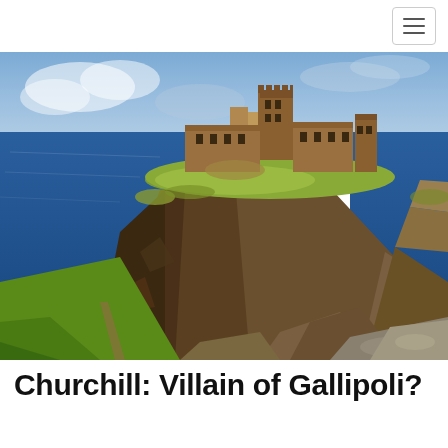[Figure (photo): Aerial-perspective photograph of a ruined medieval castle perched atop dramatic coastal cliffs. The castle has brown stone towers and walls partially collapsed. The cliffs are rocky and covered in green and brown vegetation. The surrounding sea is deep blue. Green fields are visible in the foreground.]
Churchill: Villain of Gallipoli?